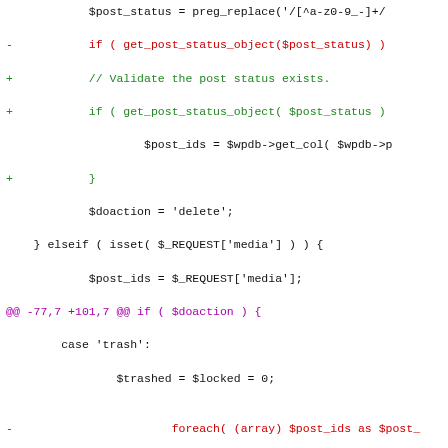[Figure (screenshot): A code diff view showing PHP code changes in a WordPress file, with red lines for removed code, green lines for added code, and purple/magenta for diff hunk headers. The diff shows changes related to post status validation and foreach loop modifications.]